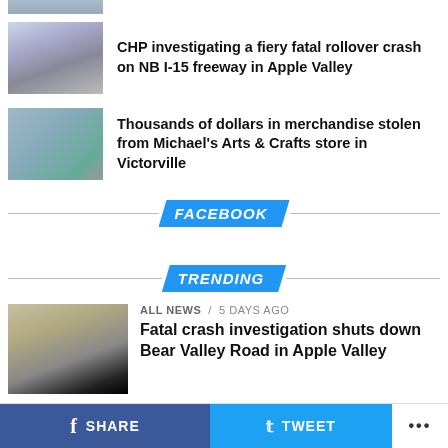[Figure (photo): Partial news thumbnail at top of page, cropped]
CHP investigating a fiery fatal rollover crash on NB I-15 freeway in Apple Valley
Thousands of dollars in merchandise stolen from Michael's Arts & Crafts store in Victorville
FACEBOOK
TRENDING
ALL NEWS / 5 days ago
Fatal crash investigation shuts down Bear Valley Road in Apple Valley
ALL NEWS / 6 days ago
20-year-old woman shot twice in her...
SHARE   TWEET   ...